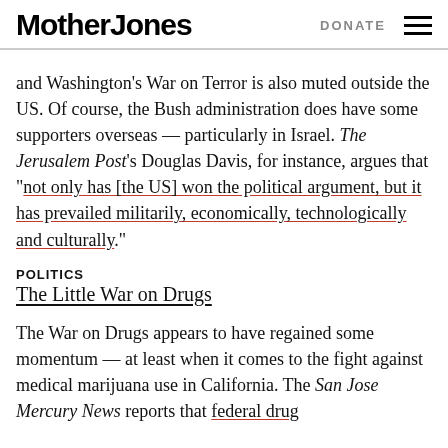Mother Jones | DONATE
and Washington's War on Terror is also muted outside the US. Of course, the Bush administration does have some supporters overseas — particularly in Israel. The Jerusalem Post's Douglas Davis, for instance, argues that "not only has [the US] won the political argument, but it has prevailed militarily, economically, technologically and culturally."
POLITICS
The Little War on Drugs
The War on Drugs appears to have regained some momentum — at least when it comes to the fight against medical marijuana use in California. The San Jose Mercury News reports that federal drug